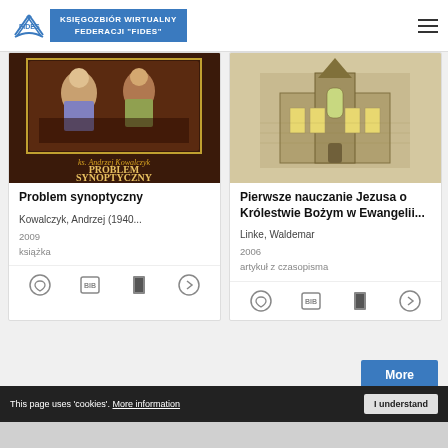KSIĘGOZBIÓR WIRTUALNY FEDERACJI "FIDES"
[Figure (screenshot): Book cover: Problem synoptyczny by ks. Andrzej Kowalczyk - dark cover with religious painting]
Problem synoptyczny
Kowalczyk, Andrzej (1940...
2009
książka
[Figure (screenshot): Book cover: Pierwsze nauczanie Jezusa o Królestwie Bożym w Ewangelii... - sepia church architecture illustration]
Pierwsze nauczanie Jezusa o Królestwie Bożym w Ewangelii...
Linke, Waldemar
2006
artykuł z czasopisma
This page uses 'cookies'. More information
I understand